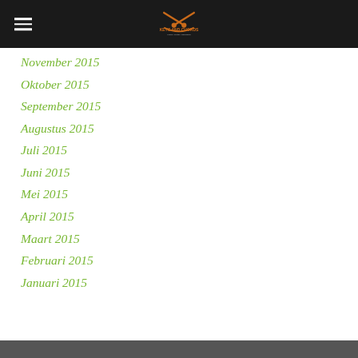Keys and Chords
November 2015
Oktober 2015
September 2015
Augustus 2015
Juli 2015
Juni 2015
Mei 2015
April 2015
Maart 2015
Februari 2015
Januari 2015